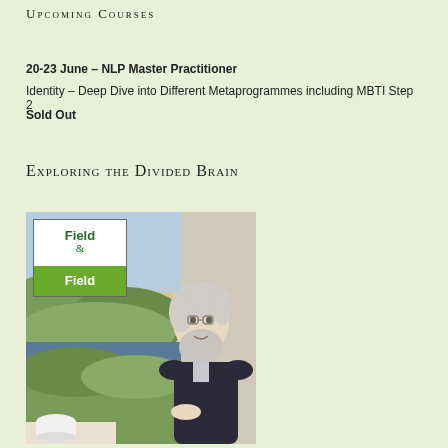Upcoming Courses
20-23 June – NLP Master Practitioner
Identity – Deep Dive into Different Metaprogrammes including MBTI Step 2
Sold Out
Exploring the Divided Brain
[Figure (photo): Photo showing a bearded white-haired man seated, with a Field & Field branded banner and a landscape painting in the background.]